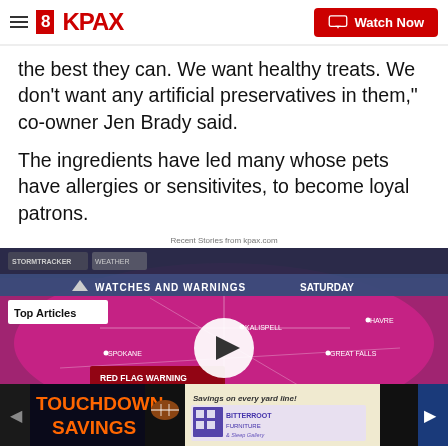8KPAX | Watch Now
the best they can. We want healthy treats. We don't want any artificial preservatives in them," co-owner Jen Brady said.
The ingredients have led many whose pets have allergies or sensitivites, to become loyal patrons.
Recent Stories from kpax.com
[Figure (screenshot): KPAX news video player showing a weather map with STORMTRACKER WEATHER overlay, WATCHES AND WARNINGS - SATURDAY header, a pink/magenta highlighted region over parts of Montana showing RED FLAG WARNING, WINDS: 25-30 MPH, HUMIDITY: 10-15%. Cities labeled include KALISPELL, HAVRE, SPOKANE, GREAT FALLS, LETON, and EMAN. A white circular play button is centered on the map. A 'Top Articles' badge is shown in the upper left. An advertisement banner at the bottom reads 'TOUCHDOWN SAVINGS' with 'Savings on every yard line!' and Bitterroot Furniture & Sleep Gallery branding.]